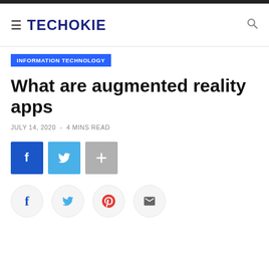TECHOKIE
INFORMATION TECHNOLOGY
What are augmented reality apps
JULY 14, 2020 - 4 MINS READ
[Figure (other): Social share buttons: Facebook (blue square with f), Twitter (light blue square with bird icon), More (gray square with plus sign), and circular share icons for Facebook, Twitter, Pinterest, and Email at the bottom]